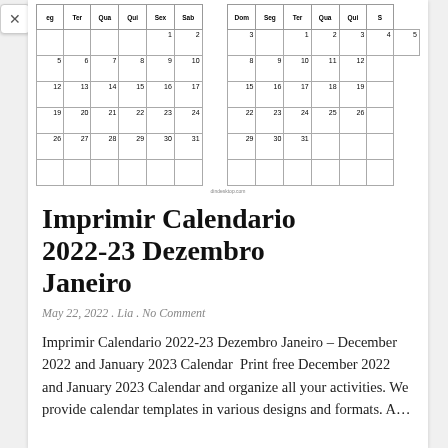[Figure (other): A two-month printable calendar (December 2022 and January 2023) shown as a grid with Portuguese day abbreviations (Seg, Ter, Qua, Qui, Sex, Sab, Dom) and date numbers. The calendar is partially cropped at the top.]
Imprimir Calendario 2022-23 Dezembro Janeiro
May 22, 2022 . Lia . No Comment
Imprimir Calendario 2022-23 Dezembro Janeiro – December 2022 and January 2023 Calendar  Print free December 2022 and January 2023 Calendar and organize all your activities. We provide calendar templates in various designs and formats. A...